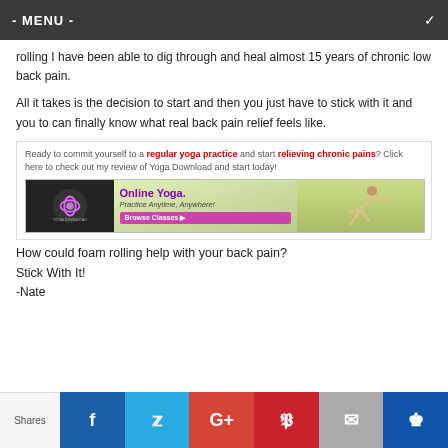- MENU -
rolling I have been able to dig through and heal almost 15 years of chronic low back pain.
All it takes is the decision to start and then you just have to stick with it and you to can finally know what real back pain relief feels like.
[Figure (infographic): Yoga Download advertisement banner. Text reads: Ready to commit yourself to a regular yoga practice and start relieving chronic pains? Click here to check out my review of Yoga Download and start today! Banner shows Online Yoga. Practice Anytime, Anywhere! with Browse Classes button and a person doing yoga.]
How could foam rolling help with your back pain?
Stick With It!
-Nate
Shares  [Facebook] [Twitter] [Google+] [Pinterest] [Email] [Crown]